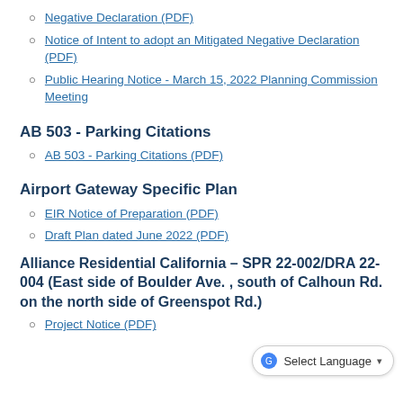Negative Declaration (PDF)
Notice of Intent to adopt an Mitigated Negative Declaration (PDF)
Public Hearing Notice - March 15, 2022 Planning Commission Meeting
AB 503 - Parking Citations
AB 503 - Parking Citations (PDF)
Airport Gateway Specific Plan
EIR Notice of Preparation (PDF)
Draft Plan dated June 2022 (PDF)
Alliance Residential California – SPR 22-002/DRA 22-004 (East side of Boulder Ave. , south of Calhoun Rd. on the north side of Greenspot Rd.)
Project Notice (PDF)